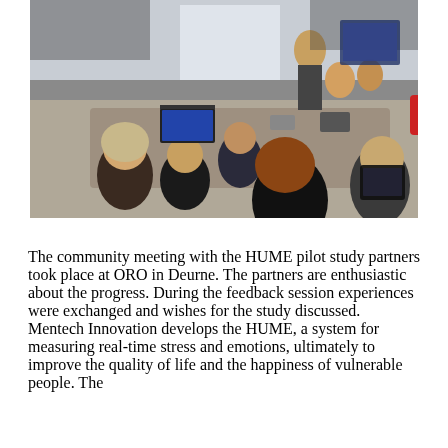[Figure (photo): A group of people sitting around a conference table in a meeting room. Participants are looking at laptops and tablets. The setting appears to be a community or study meeting.]
The community meeting with the HUME pilot study partners took place at ORO in Deurne. The partners are enthusiastic about the progress. During the feedback session experiences were exchanged and wishes for the study discussed. Mentech Innovation develops the HUME, a system for measuring real-time stress and emotions, ultimately to improve the quality of life and the happiness of vulnerable people. The